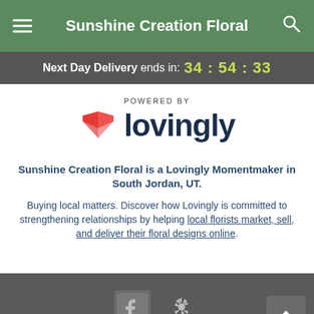Sunshine Creation Floral
Next Day Delivery ends in: 34 : 54 : 33
[Figure (logo): Powered by Lovingly logo with pink heart/book icon and dark navy wordmark 'lovingly']
Sunshine Creation Floral is a Lovingly Momentmaker in South Jordan, UT.
Buying local matters. Discover how Lovingly is committed to strengthening relationships by helping local florists market, sell, and deliver their floral designs online.
Social icons: Facebook, Yelp. Scroll to top button.